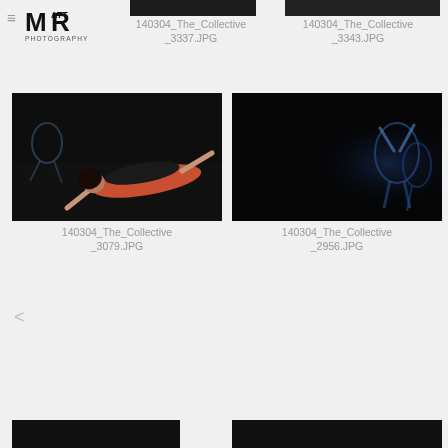[Figure (logo): MR Matt Rhoades Photography logo, black sans-serif text]
[Figure (photo): Partially visible dark photo top left, filename: 140304_The_Collective_3337.JPG]
140304_The_Collective_3337.JPG
[Figure (photo): Partially visible dark photo top right, filename: 140304_The_Collective_3343.JPG]
140304_The_Collective_3343.JPG
[Figure (photo): Dance performance photo: woman in red and black outfit lying on dark stage floor]
140304_The_Collective_3079.JPG
[Figure (photo): Dance performance photo: dark scene with blue-lit performers on stage right side]
140304_The_Collective_2956.JPG
[Figure (photo): Partially visible dark photo bottom left]
[Figure (photo): Partially visible dark photo bottom right]